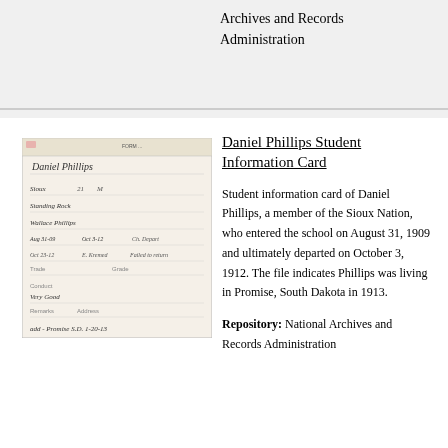Archives and Records Administration
Daniel Phillips Student Information Card
[Figure (photo): Handwritten student information card for Daniel Phillips, showing cursive writing with name, tribe (Sioux), agency (Standing Rock), parent (Wallace Phillips), dates of entry and departure, and other student details.]
Student information card of Daniel Phillips, a member of the Sioux Nation, who entered the school on August 31, 1909 and ultimately departed on October 3, 1912. The file indicates Phillips was living in Promise, South Dakota in 1913.
Repository:  National Archives and Records Administration